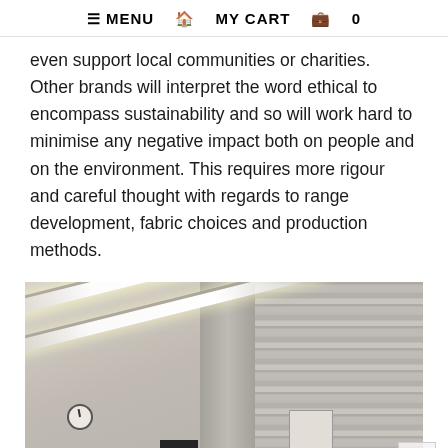≡ MENU  🏠  MY CART  🧳  0
even support local communities or charities. Other brands will interpret the word ethical to encompass sustainability and so will work hard to minimise any negative impact both on people and on the environment. This requires more rigour and careful thought with regards to range development, fabric choices and production methods.
[Figure (photo): Interior photograph of what appears to be a factory or workspace, showing fluorescent tube lighting mounted on the ceiling/wall at an angle, a curtained partition on the right, a wall-mounted clock near the bottom left, and various objects including a notice board.]